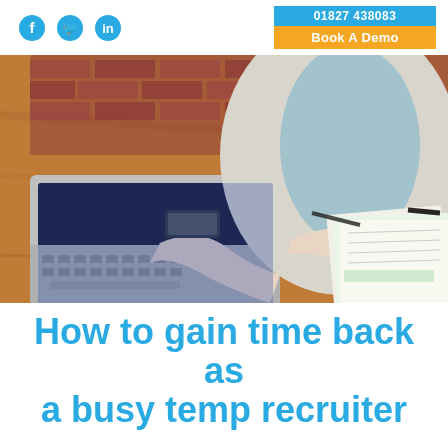01827 438083 | Book A Demo
[Figure (photo): A person typing on a laptop at a wooden desk, with papers, a coffee cup, and a smartphone nearby. The person is wearing a light blue shirt and a watch.]
How to gain time back as a busy temp recruiter